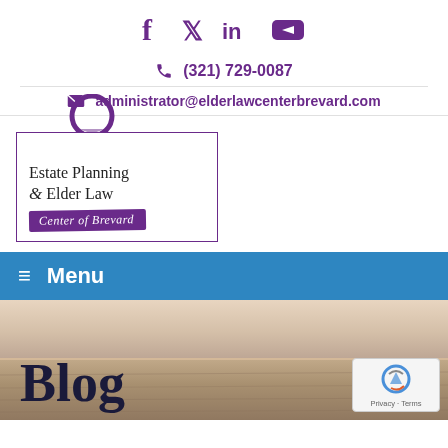[Figure (logo): Social media icons: Facebook, Twitter, LinkedIn, YouTube in purple]
(321) 729-0087
administrator@elderlawcenterbrevard.com
[Figure (logo): Estate Planning & Elder Law Center of Brevard logo with purple circle and bordered box]
Menu
Blog